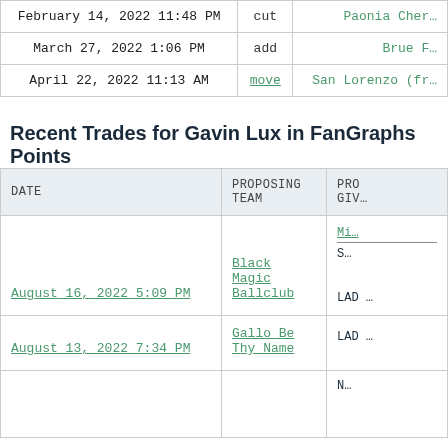| DATE | ACTION | DETAILS |
| --- | --- | --- |
| February 14, 2022 11:48 PM | cut | Paonia Cher… |
| March 27, 2022 1:06 PM | add | Brue F… |
| April 22, 2022 11:13 AM | move | San Lorenzo (fr… |
Recent Trades for Gavin Lux in FanGraphs Points
| DATE | PROPOSING TEAM | PRO
GIV… |
| --- | --- | --- |
| August 16, 2022 5:09 PM | Black Magic Ballclub | Mi…
S…
LAD … |
| August 13, 2022 7:34 PM | Gallo Be Thy Name | LAD … |
|  |  | N… |